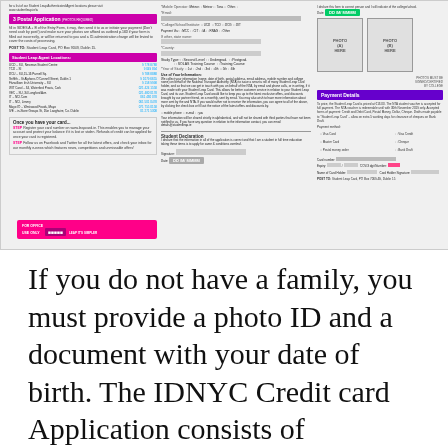[Figure (other): Student Leap Card postal application form showing three columns: left column with Section 3 Postal Application instructions, student Leap Agent Locations list, and Once you have your card tips; middle column with personal details fields, mobile operator checkboxes, college/school/institute options, study type, year of study, and Student Declaration; right column with photo boxes (A) and (B), Payment Details section with payment method options and card number fields.]
If you do not have a family, you must provide a photo ID and a document with your date of birth. The IDNYC Credit card Application consists of instructions for sending your